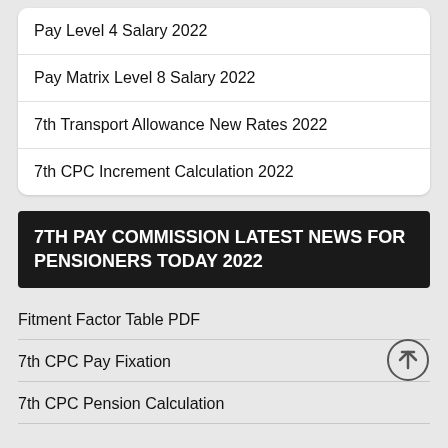Pay Level 4 Salary 2022
Pay Matrix Level 8 Salary 2022
7th Transport Allowance New Rates 2022
7th CPC Increment Calculation 2022
7TH PAY COMMISSION LATEST NEWS FOR PENSIONERS TODAY 2022
Fitment Factor Table PDF
7th CPC Pay Fixation
7th CPC Pension Calculation